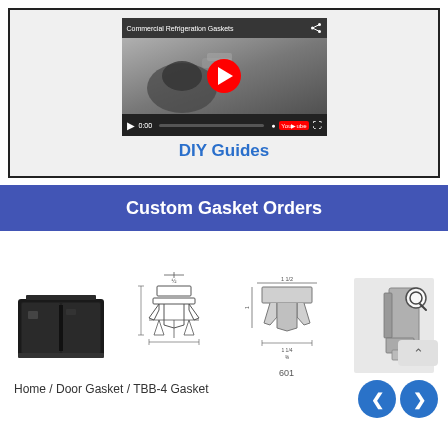[Figure (screenshot): YouTube video thumbnail showing 'Commercial Refrigeration Gaskets' with a gloved hand and a red play button, including video controls bar at bottom]
DIY Guides
Custom Gasket Orders
[Figure (photo): Product image row showing: black commercial refrigeration unit, gasket cross-section engineering diagram, gasket profile diagram labeled 601, and a zoomed gasket photo with magnifier icon]
Home / Door Gasket / TBB-4 Gasket